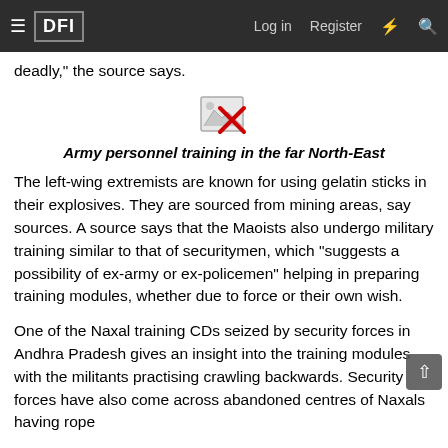≡  DFI    Log in   Register   ⚡   🔍
deadly," the source says.
[Figure (photo): Broken image placeholder for Army personnel training in the far North-East]
Army personnel training in the far North-East
The left-wing extremists are known for using gelatin sticks in their explosives. They are sourced from mining areas, say sources. A source says that the Maoists also undergo military training similar to that of securitymen, which "suggests a possibility of ex-army or ex-policemen" helping in preparing training modules, whether due to force or their own wish.
One of the Naxal training CDs seized by security forces in Andhra Pradesh gives an insight into the training modules with the militants practising crawling backwards. Security forces have also come across abandoned centres of Naxals having rope